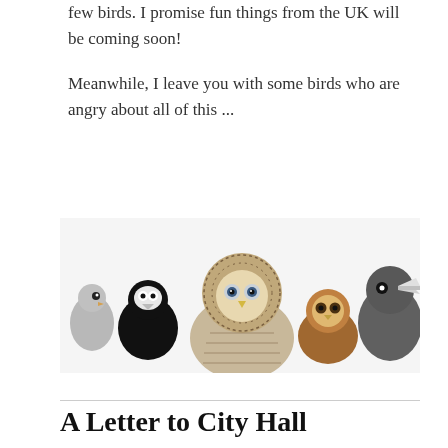few birds. I promise fun things from the UK will be coming soon!
Meanwhile, I leave you with some birds who are angry about all of this ...
[Figure (photo): A group of five birds lined up in a row against a white background, including a small grey bird, a black and white bird, a large barred owl in the center, a small brown owl, and a dark crow or raven with its beak open.]
A Letter to City Hall